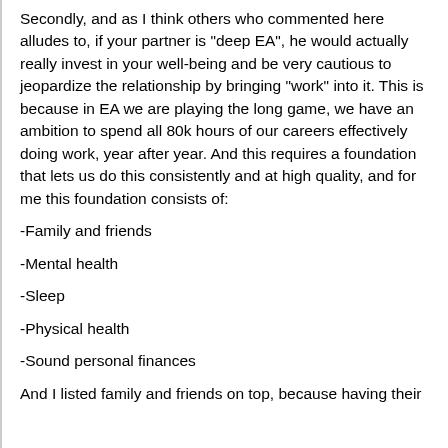Secondly, and as I think others who commented here alludes to, if your partner is "deep EA", he would actually really invest in your well-being and be very cautious to jeopardize the relationship by bringing "work" into it. This is because in EA we are playing the long game, we have an ambition to spend all 80k hours of our careers effectively doing work, year after year. And this requires a foundation that lets us do this consistently and at high quality, and for me this foundation consists of:
-Family and friends
-Mental health
-Sleep
-Physical health
-Sound personal finances
And I listed family and friends on top, because having their support, especially during hard times, is for me a foundation...